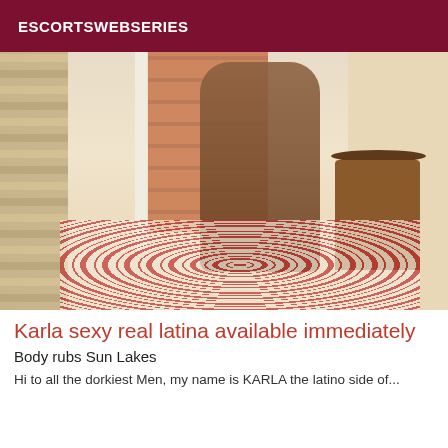ESCORTSWEBSERIES
[Figure (photo): A woman in a bikini standing by a hotel room window, holding a phone, with a side table with water bottles visible and a patterned rug on the floor.]
Karla sexy real latina available immediately
Body rubs Sun Lakes
Hi to all the dorkiest Men, my name is KARLA the latino side of...